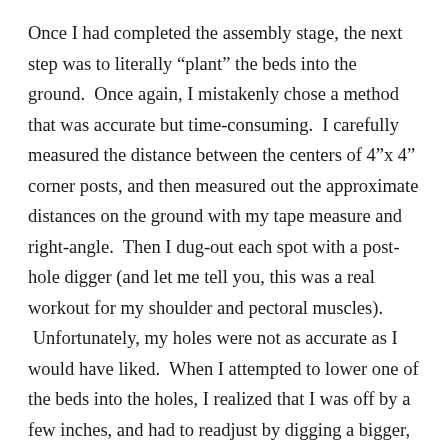Once I had completed the assembly stage, the next step was to literally “plant” the beds into the ground.  Once again, I mistakenly chose a method that was accurate but time-consuming.  I carefully measured the distance between the centers of 4”x 4” corner posts, and then measured out the approximate distances on the ground with my tape measure and right-angle.  Then I dug-out each spot with a post-hole digger (and let me tell you, this was a real workout for my shoulder and pectoral muscles).
 Unfortunately, my holes were not as accurate as I would have liked.  When I attempted to lower one of the beds into the holes, I realized that I was off by a few inches, and had to readjust by digging a bigger, wider hole.  Vowing not to repeat this mistake again, for the next two beds, I put them into place and marked-off the holes with bright yellow spray paint that I sprayed around the posts.  This worked